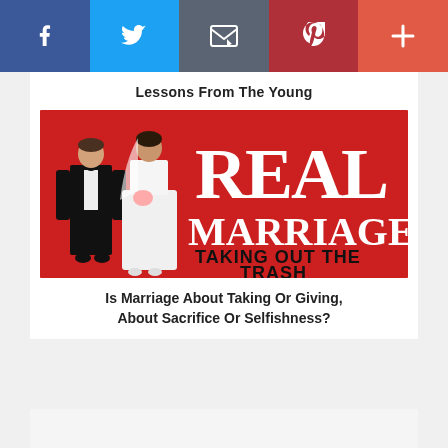[Figure (infographic): Social media sharing bar with Facebook (blue), Twitter (light blue), Email (gray), Pinterest (dark red), and More/Plus (coral-red) buttons]
Lessons From The Young
[Figure (photo): Book cover image: 'REAL MARRIAGE - TAKING OUT THE TRASH' with wedding cake figurines (groom in black tuxedo, bride in white dress) on a red background]
Is Marriage About Taking Or Giving, About Sacrifice Or Selfishness?